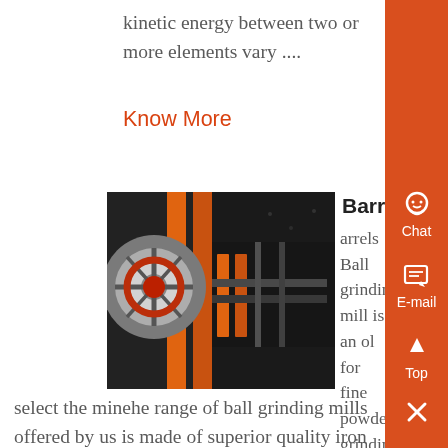kinetic energy between two or more elements vary ....
Know More
Barrels - kroslinenl
[Figure (photo): Industrial ball grinding mill machinery with orange metal frame and mechanical components]
Barrels Ball grinding mill is an ol for fine powder grindinghese ng mills is used to grinding many ine and other materials, or to select the minehe range of ball grinding mills offered by us is made of superior quality iron and stainless steel and is used to process and for milling various kinds of ores or rocks in metal and nonmetal mining and ....
Know More